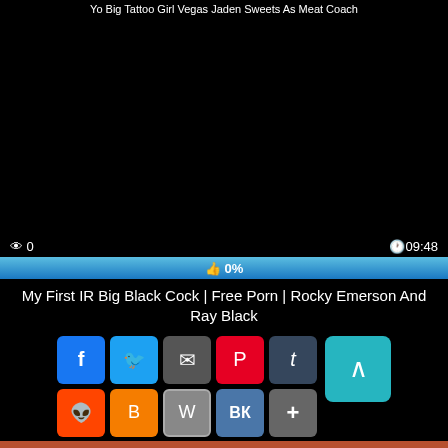Yo Big Tattoo Girl Vegas Jaden Sweets As Meat Coach
[Figure (screenshot): Black video player area]
0   09:48
👍 0%
My First IR Big Black Cock | Free Porn | Rocky Emerson And Ray Black
[Figure (screenshot): Social share buttons: Facebook, Twitter, Email, Pinterest, Tumblr, scroll-to-top, Reddit, Blogger, WordPress, VK, More]
[Figure (photo): Thumbnail image with Passion-Girls watermark]